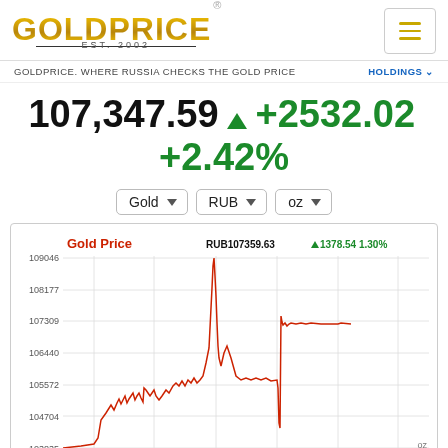[Figure (logo): GOLDPRICE logo with EST. 2002 text and hamburger menu icon]
GOLDPRICE. WHERE RUSSIA CHECKS THE GOLD PRICE     HOLDINGS ˅
107,347.59 ▲ +2532.02 +2.42%
Gold ˅   RUB ˅   oz ˅
[Figure (line-chart): Gold Price]
Aug 29, 2022 at 14:51 NY Time    goldprice.org (mid)